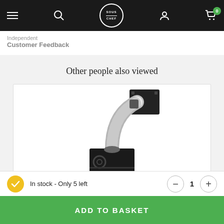Sous Chef website navigation bar
Independent
Customer Feedback
Other people also viewed
[Figure (photo): Product photo of a black metal smoke or ventilation unit with a flexible aluminum duct hose curving upward and connecting to a wall-mounted black bracket plate.]
In stock - Only 5 left
ADD TO BASKET